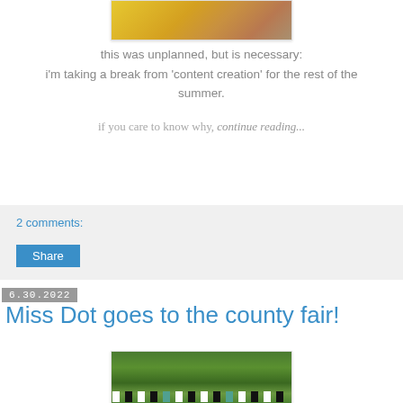[Figure (photo): Cropped top portion of a summer beach photo showing yellow surfboards/kayaks, a wicker basket, and sandy beach tones]
this was unplanned, but is necessary:
i'm taking a break from 'content creation' for the rest of the summer.
if you care to know why, continue reading...
2 comments:
Share
6.30.2022
Miss Dot goes to the county fair!
[Figure (photo): Outdoor photo showing trees with lush green foliage and decorative bunting/flags strung across in black, white, and teal patterns at a county fair]